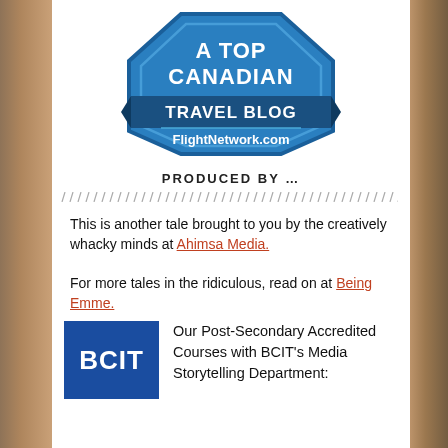[Figure (logo): A Top Canadian Travel Blog badge/logo from FlightNetwork.com — blue octagonal badge shape with white text reading 'A TOP CANADIAN TRAVEL BLOG' and 'FlightNetwork.com' on a blue ribbon banner]
PRODUCED BY …
This is another tale brought to you by the creatively whacky minds at Ahimsa Media.
For more tales in the ridiculous, read on at Being Emme.
[Figure (logo): BCIT logo — blue square with white text 'BCIT']
Our Post-Secondary Accredited Courses with BCIT's Media Storytelling Department: